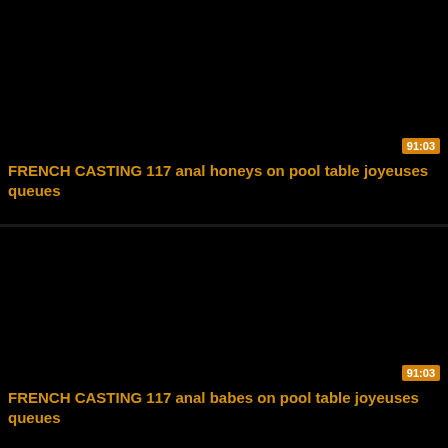[Figure (screenshot): Black thumbnail area for first video card]
91:03
FRENCH CASTING 117 anal honeys on pool table joyeuses queues
[Figure (screenshot): Black thumbnail area for second video card]
91:03
FRENCH CASTING 117 anal babes on pool table joyeuses queues